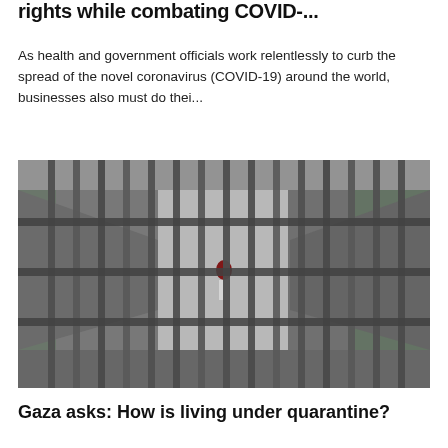rights while combating COVID-...
As health and government officials work relentlessly to curb the spread of the novel coronavirus (COVID-19) around the world, businesses also must do thei...
[Figure (photo): View through prison bars of a corridor, with a person visible in the background]
Gaza asks: How is living under quarantine?